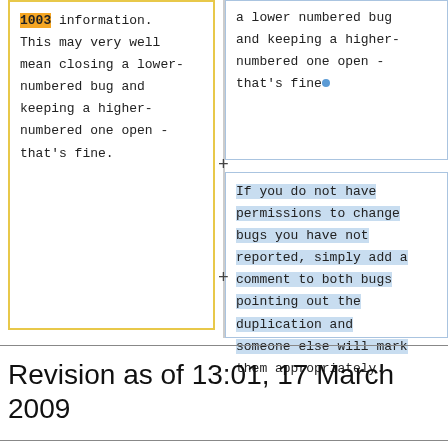1003 information. This may very well mean closing a lower-numbered bug and keeping a higher-numbered one open - that's fine.
a lower-numbered bug and keeping a higher-numbered one open - that's fine.
If you do not have permissions to change bugs you have not reported, simply add a comment to both bugs pointing out the duplication and someone else will mark them appropriately.
Revision as of 13:01, 17 March 2009